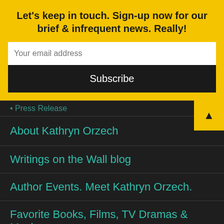Let's keep in touch. Sign-up now for our brief & infrequent news. Really!
Your email address
Subscribe
• Press Release
About Kathryn Orzech
Writings on the Wall blog
Author Events. Meet Kathryn Orzech.
Favorite Books, Films, TV Dramas & Music
DreamWatch True Paranormal
Your stories in your words.